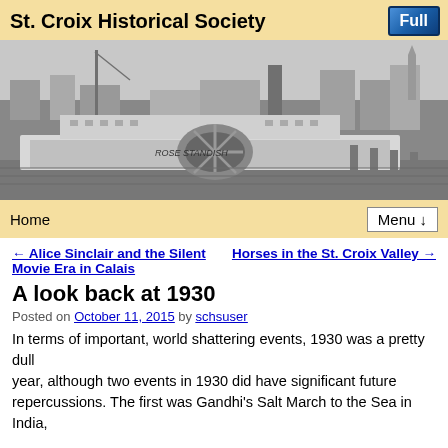St. Croix Historical Society
[Figure (photo): Black and white historical photograph of a steamboat named Rose Standish docked at a riverside town, with buildings and a church steeple visible in the background.]
Home   Menu ↓
← Alice Sinclair and the Silent Movie Era in Calais
Horses in the St. Croix Valley →
A look back at 1930
Posted on October 11, 2015 by schsuser
In terms of important, world shattering events, 1930 was a pretty dull year, although two events in 1930 did have significant future repercussions. The first was Gandhi's Salt March to the Sea in India,